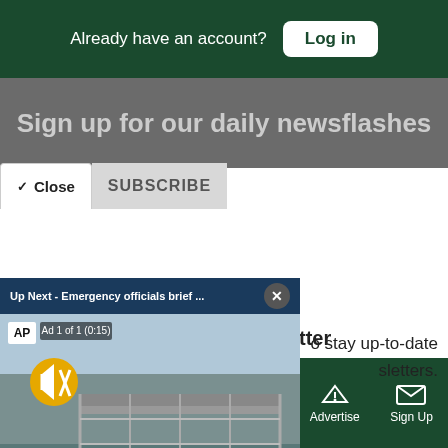Already have an account? Log in
Sign up for our daily newsflashes
Close  SUBSCRIBE
[Figure (screenshot): Video overlay showing 'Up Next - Emergency officials brief ...' with AP news video thumbnail of people walking on a bridge at a water treatment facility. Ad 1 of 1 (0:15) label shown. Mute button visible. Text overlay reads EMERGENCY OFFICIALS BRIEF ON JACKSON'S]
o stay up-to-date
ewsletters.
More: Daily Newsletter
Sections  NY Edition  Philly  Games  Advertise  Sign Up